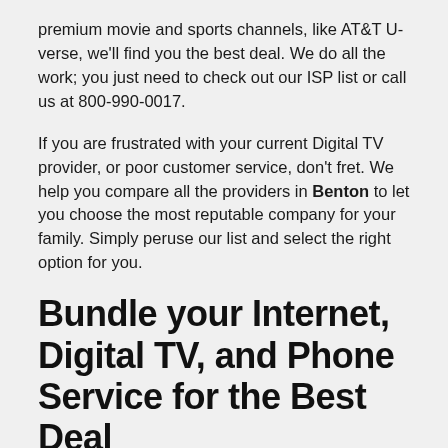premium movie and sports channels, like AT&T U-verse, we'll find you the best deal. We do all the work; you just need to check out our ISP list or call us at 800-990-0017.
If you are frustrated with your current Digital TV provider, or poor customer service, don't fret. We help you compare all the providers in Benton to let you choose the most reputable company for your family. Simply peruse our list and select the right option for you.
Bundle your Internet, Digital TV, and Phone Service for the Best Deal
When it comes to digital home services, one fact reigns supreme: bundles save you money! Nearly all providers offer significant cost savings when you bundle Internet,